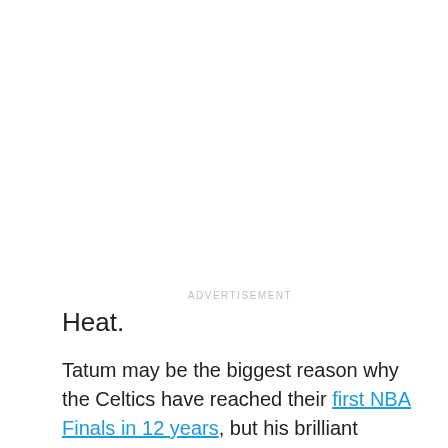ADVERTISEMENT
Heat.
Tatum may be the biggest reason why the Celtics have reached their first NBA Finals in 12 years, but his brilliant playoff run hasn't been without its flaws.
Tatum is on pace to set an embarrassing playoff record